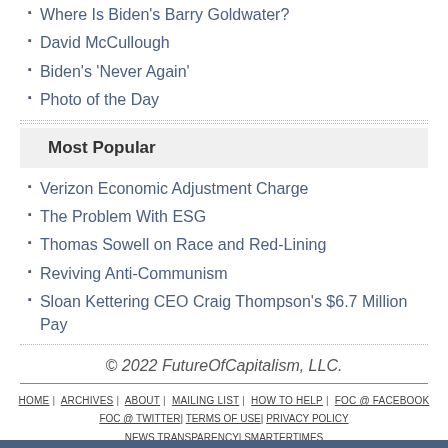Where Is Biden's Barry Goldwater?
David McCullough
Biden's 'Never Again'
Photo of the Day
Most Popular
Verizon Economic Adjustment Charge
The Problem With ESG
Thomas Sowell on Race and Red-Lining
Reviving Anti-Communism
Sloan Kettering CEO Craig Thompson's $6.7 Million Pay
© 2022 FutureOfCapitalism, LLC.
HOME | ARCHIVES | ABOUT | MAILING LIST | HOW TO HELP | FoC @ FACEBOOK | FoC @ TWITTER | TERMS OF USE | PRIVACY POLICY | NEWS TRANSPARENCY | SMARTERTIMES